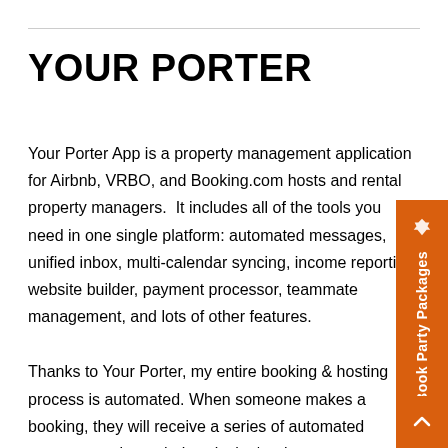YOUR PORTER
Your Porter App is a property management application for Airbnb, VRBO, and Booking.com hosts and rental property managers.  It includes all of the tools you need in one single platform: automated messages, unified inbox, multi-calendar syncing, income reporting, website builder, payment processor, teammate management, and lots of other features.
Thanks to Your Porter, my entire booking & hosting process is automated. When someone makes a booking, they will receive a series of automated messages prior to their arrival w/ welcome messages, check-in/checkout instructions, etc.  I can also share a link to my booking